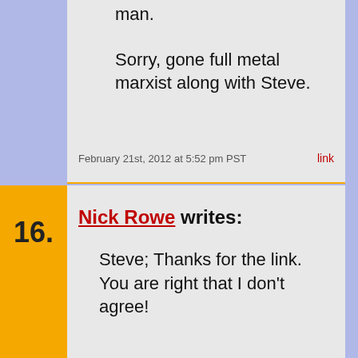man.
Sorry, gone full metal marxist along with Steve.
February 21st, 2012 at 5:52 pm PST
link
16.
Nick Rowe writes:
Steve; Thanks for the link. You are right that I don't agree!
1. This was the first comment on my post